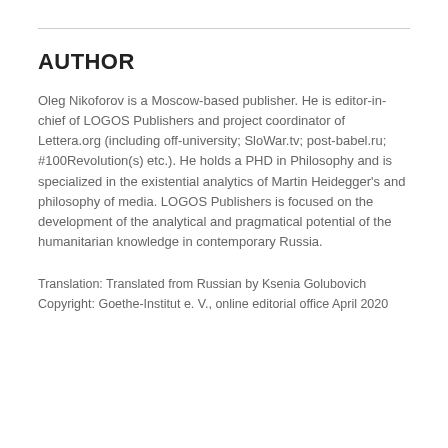AUTHOR
Oleg Nikoforov is a Moscow-based publisher. He is editor-in-chief of LOGOS Publishers and project coordinator of Lettera.org (including off-university; SloWar.tv; post-babel.ru; #100Revolution(s) etc.). He holds a PHD in Philosophy and is specialized in the existential analytics of Martin Heidegger's and philosophy of media. LOGOS Publishers is focused on the development of the analytical and pragmatical potential of the humanitarian knowledge in contemporary Russia.
Translation: Translated from Russian by Ksenia Golubovich
Copyright: Goethe-Institut e. V., online editorial office April 2020